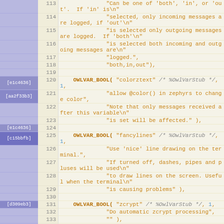[Figure (screenshot): Source code viewer showing lines 113-134 of a C source file with git blame annotations in left margin. Lines show OWLVAR_BOOL macro calls for 'colorztext', 'fancylines', and 'zcrypt' variables, with string arguments describing their purpose. Left column shows git commit hashes [e1c4636], [aa2f33b3], [c15bbfb], [d309eb3] on a purple background. Line numbers in beige column. Code in monospace on cream background with orange/amber colored strings.]